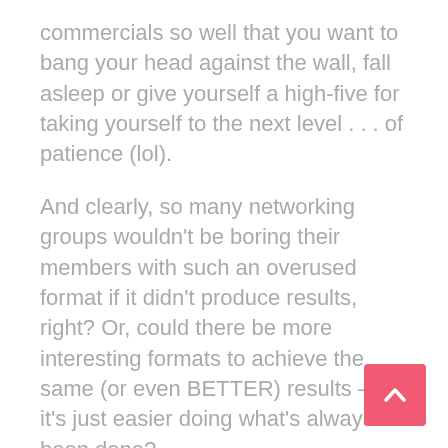commercials so well that you want to bang your head against the wall, fall asleep or give yourself a high-five for taking yourself to the next level . . . of patience (lol).
And clearly, so many networking groups wouldn't be boring their members with such an overused format if it didn't produce results, right? Or, could there be more interesting formats to achieve the same (or even BETTER) results –but it's just easier doing what's always been done?
What's interesting is a lot of duplicated